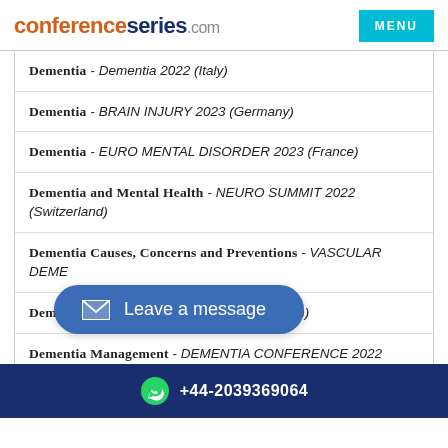conferenceseries.com MENU
Dementia - Dementia 2022 (Italy)
Dementia - BRAIN INJURY 2023 (Germany)
Dementia - EURO MENTAL DISORDER 2023 (France)
Dementia and Mental Health - NEURO SUMMIT 2022 (Switzerland)
Dementia Causes, Concerns and Preventions - VASCULAR DEME...
Dementia Lewy Body - Dementia-2022 (Spain)
Dementia Management - DEMENTIA CONFERENCE 2022 (Italy)
+44-2039369064